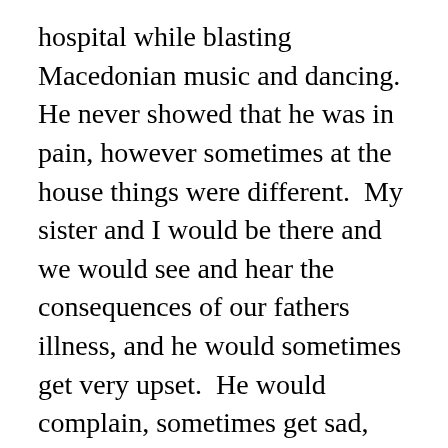hospital while blasting Macedonian music and dancing.  He never showed that he was in pain, however sometimes at the house things were different.  My sister and I would be there and we would see and hear the consequences of our fathers illness, and he would sometimes get very upset.  He would complain, sometimes get sad, and sometimes very angry.  I would be filled with so much anger towards him for complaining that I would have to hold myself back from lashing out.  Part of my anger was derived from the fact that it was so much easier for me to be angry than to feel the actual emotions I